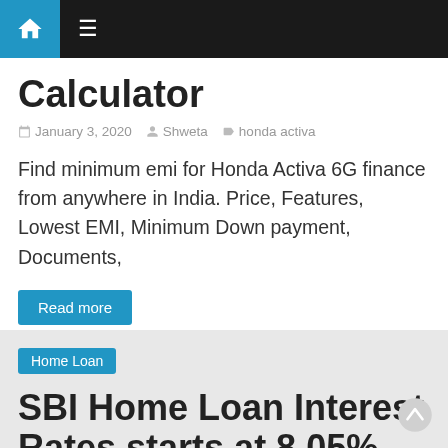Home | Menu navigation
Calculator
January 3, 2020 | Shweta | honda activa
Find minimum emi for Honda Activa 6G finance from anywhere in India. Price, Features, Lowest EMI, Minimum Down payment, Documents,
Read more
Home Loan
SBI Home Loan Interest Rates starts at 8.05%
September 20, 2019 | Shweta | SBI